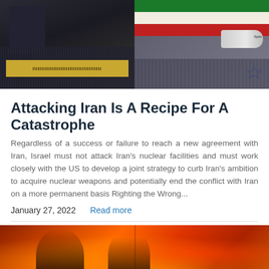[Figure (photo): Two-panel image: left panel shows a military parade with uniformed troops and a figure in foreground; right panel shows Iranian flag with green, white, and red stripes alongside a missile/rocket with Israeli Star of David visible]
Attacking Iran Is A Recipe For A Catastrophe
Regardless of a success or failure to reach a new agreement with Iran, Israel must not attack Iran’s nuclear facilities and must work closely with the US to develop a joint strategy to curb Iran’s ambition to acquire nuclear weapons and potentially end the conflict with Iran on a more permanent basis Righting the Wrong…
January 27, 2022    Read more
[Figure (photo): Bottom image showing figures silhouetted against a large fire/inferno background with orange and red flames filling the scene]